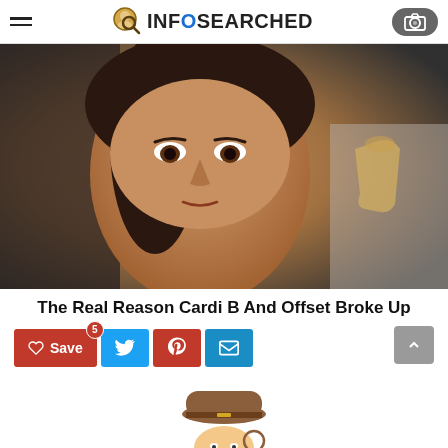InfoSearched
[Figure (photo): Close-up photo of Cardi B looking to the side with a Grammy award visible in background]
The Real Reason Cardi B And Offset Broke Up
[Figure (infographic): Social sharing buttons: Save (with count 5), Twitter, Pinterest, Email, and scroll-to-top arrow button]
[Figure (logo): InfoSearched mascot logo - detective character with magnifying glass at bottom of page]